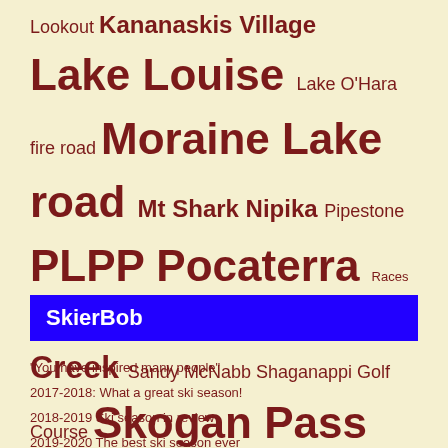Lookout Kananaskis Village Lake Louise Lake O'Hara fire road Moraine Lake road Mt Shark Nipika Pipestone PLPP Pocaterra Races Redearth Creek Ribbon Creek Sandy McNabb Shaganappi Golf Course Skogan Pass Spray River Tyrwhitt Watridge Lake Road Wedge connector West Bragg Creek Wheeler Whiskey Jack Yoho
SkierBob
"You have inspired many people"
2017-2018: What a great ski season!
2018-2019 Ski season in review
2019-2020 The best ski season ever